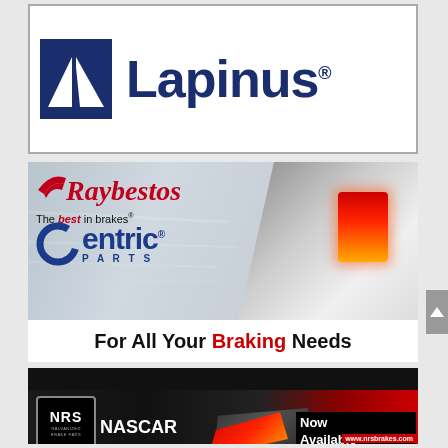[Figure (logo): Lapinus brand logo — white background with dark blue triangle/mountain icon and 'Lapinus' in dark blue bold text with registered trademark symbol]
[Figure (illustration): Raybestos and Centric Parts advertisement — grey motion-blur car background with red tail light, red cursive Raybestos logo with 'The best in brakes' tagline, blue Centric Parts logo, white bottom banner reading 'For All Your Braking Needs' with 'Braking' in red]
[Figure (illustration): NRS Brakes advertisement — black background with NRS Galvanized Brake Pads badge, NASCAR Proven Brakes text, brake pad texture, red race car, and 'Now Available For Your Car!' callout with www.nrsbrakes.com website]